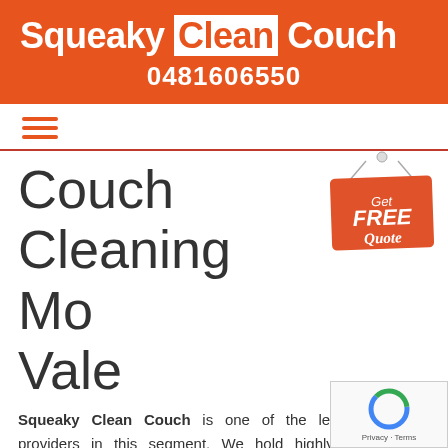Squeaky Clean Couch 0481606550
[Figure (logo): Hamburger menu icon with three horizontal orange lines]
Couch Cleaning Mo... Vale
[Figure (illustration): Orange hanging sign badge with text: Get FREE Quote]
Squeaky Clean Couch is one of the leading service providers in this segment. We hold highly professional cleaning crew with updated machinery and cleaning techniques. Due to our consistency in the quality of service, we are achieving great fame in the cleaning industry. Squeaky Clean Couch is one of...